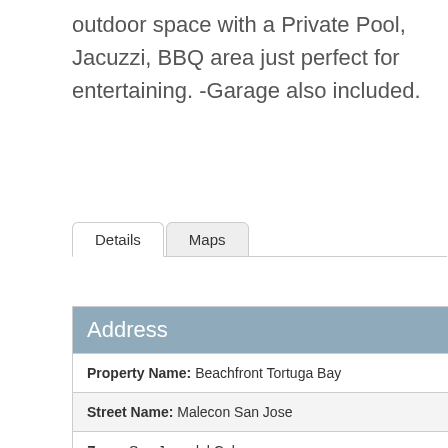outdoor space with a Private Pool, Jacuzzi, BBQ area just perfect for entertaining. -Garage also included.
Details | Maps (tabs)
| Field | Value |
| --- | --- |
| Property Name: | Beachfront Tortuga Bay |
| Street Name: | Malecon San Jose |
| Zone: | San Jose del Cabo |
| Area: | SJD-Beachside |
| Community: | SJD-Beach |